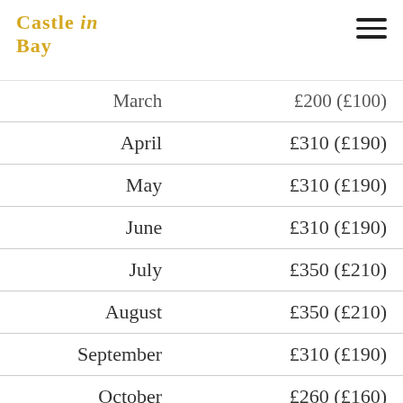Castle in the Bay
| Month | Price |
| --- | --- |
| March | £200 (£100) |
| April | £310 (£190) |
| May | £310 (£190) |
| June | £310 (£190) |
| July | £350 (£210) |
| August | £350 (£210) |
| September | £310 (£190) |
| October | £260 (£160) |
| November | not available |
| December | not available |
| Christmas/New Year | not available |